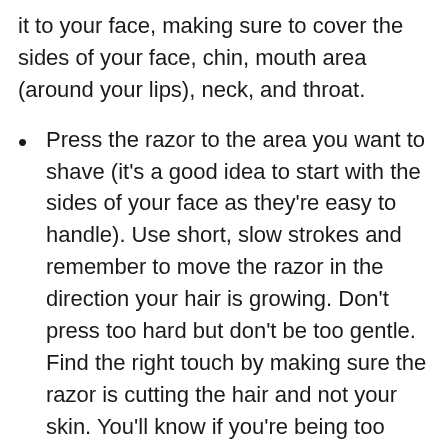it to your face, making sure to cover the sides of your face, chin, mouth area (around your lips), neck, and throat.
Press the razor to the area you want to shave (it's a good idea to start with the sides of your face as they're easy to handle). Use short, slow strokes and remember to move the razor in the direction your hair is growing. Don't press too hard but don't be too gentle. Find the right touch by making sure the razor is cutting the hair and not your skin. You'll know if you're being too gentle if you only remove the shaving cream and the hair is still there.
When the sides of your face are finished, move on to the more tricky spots. For areas like your upper lip/moustache area, bottom lip/chin area, and neck/throat area, you'll have to work a little. Try to